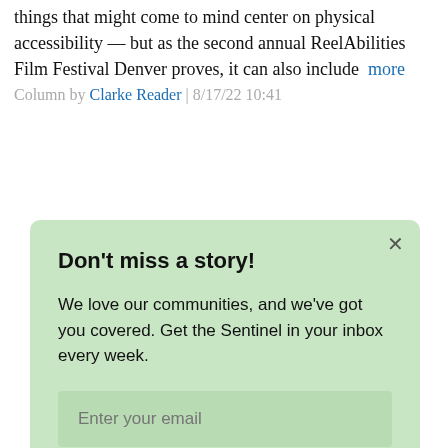things that might come to mind center on physical accessibility — but as the second annual ReelAbilities Film Festival Denver proves, it can also include … more
Column by Clarke Reader | 8/17/22 10:41
Don't miss a story!
We love our communities, and we've got you covered. Get the Sentinel in your inbox every week.
Enter your email
Sign up